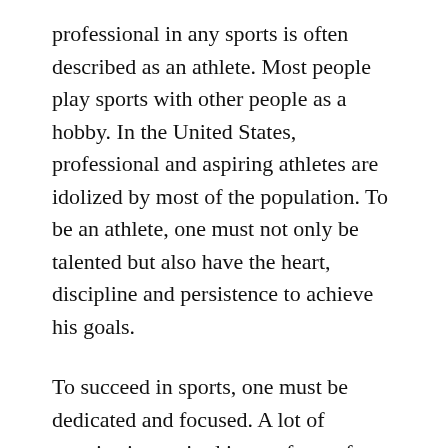professional in any sports is often described as an athlete. Most people play sports with other people as a hobby. In the United States, professional and aspiring athletes are idolized by most of the population. To be an athlete, one must not only be talented but also have the heart, discipline and persistence to achieve his goals.
To succeed in sports, one must be dedicated and focused. A lot of practice is required in any form of sport to help improve on one's talents. Sports help develop our mind and body. For example, playing a sport regularly can help improve memory, eye-hand coordination, hand-eye coordination, cardiovascular fitness,